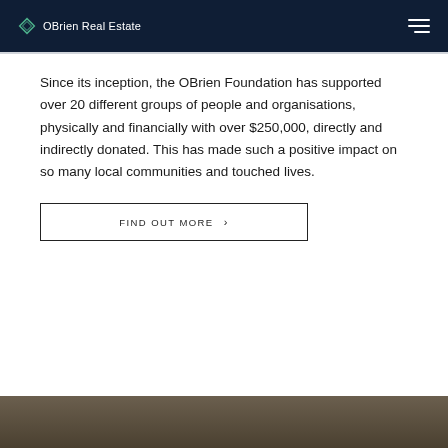OBrien Real Estate
Since its inception, the OBrien Foundation has supported over 20 different groups of people and organisations, physically and financially with over $250,000, directly and indirectly donated. This has made such a positive impact on so many local communities and touched lives.
FIND OUT MORE >
[Figure (photo): Bottom edge of a photo showing an indoor scene, partially visible]